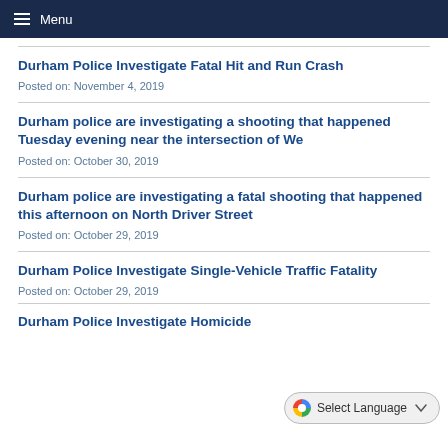Menu
Durham Police Investigate Fatal Hit and Run Crash
Posted on: November 4, 2019
Durham police are investigating a shooting that happened Tuesday evening near the intersection of We
Posted on: October 30, 2019
Durham police are investigating a fatal shooting that happened this afternoon on North Driver Street
Posted on: October 29, 2019
Durham Police Investigate Single-Vehicle Traffic Fatality
Posted on: October 29, 2019
Durham Police Investigate Homicide